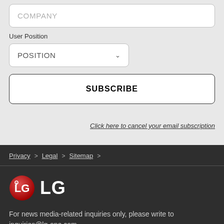COMPANY
User Position
POSITION
SUBSCRIBE
Click here to cancel your email subscription
Privacy > Legal > Sitemap >
[Figure (logo): LG logo: red circle with LG text in white, followed by large white LG text]
For news media-related inquiries only, please write to inquiries@lg-one.com